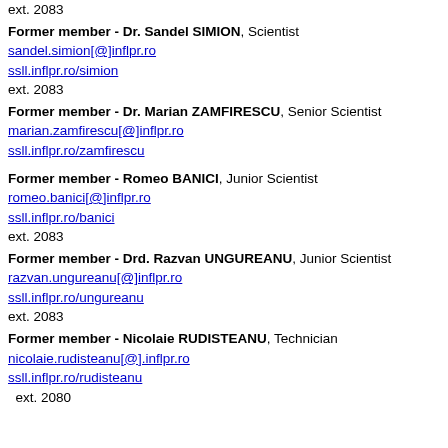ext. 2083
Former member - Dr. Sandel SIMION, Scientist
sandel.simion[@]inflpr.ro
ssll.inflpr.ro/simion
ext. 2083
Former member - Dr. Marian ZAMFIRESCU, Senior Scientist
marian.zamfirescu[@]inflpr.ro
ssll.inflpr.ro/zamfirescu
Former member - Romeo BANICI, Junior Scientist
romeo.banici[@]inflpr.ro
ssll.inflpr.ro/banici
ext. 2083
Former member - Drd. Razvan UNGUREANU, Junior Scientist
razvan.ungureanu[@]inflpr.ro
ssll.inflpr.ro/ungureanu
ext. 2083
Former member - Nicolaie RUDISTEANU, Technician
nicolaie.rudisteanu[@].inflpr.ro
ssll.inflpr.ro/rudisteanu
ext. 2080